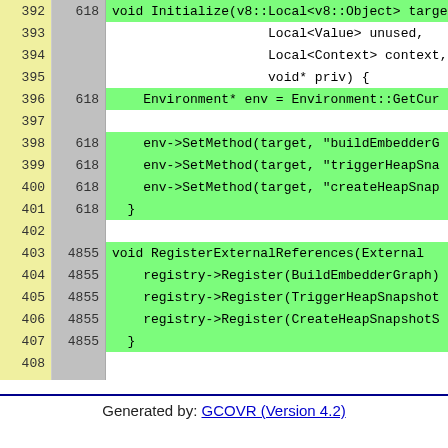| Line | Count | Code |
| --- | --- | --- |
| 392 | 618 | void Initialize(v8::Local<v8::Object> target, |
| 393 |  |                     Local<Value> unused, |
| 394 |  |                     Local<Context> context, |
| 395 |  |                     void* priv) { |
| 396 | 618 |   Environment* env = Environment::GetCur |
| 397 |  |  |
| 398 | 618 |   env->SetMethod(target, "buildEmbedderG |
| 399 | 618 |   env->SetMethod(target, "triggerHeapSna |
| 400 | 618 |   env->SetMethod(target, "createHeapSnap |
| 401 | 618 | } |
| 402 |  |  |
| 403 | 4855 | void RegisterExternalReferences(External |
| 404 | 4855 |   registry->Register(BuildEmbedderGraph) |
| 405 | 4855 |   registry->Register(TriggerHeapSnapshot |
| 406 | 4855 |   registry->Register(CreateHeapSnapshotS |
| 407 | 4855 | } |
| 408 |  |  |
| 409 |  | }  // namespace heap |
| 410 |  | }  // namespace node |
| 411 |  |  |
| 412 | 4928 | NODE_MODULE_CONTEXT_AWARE_INTERNAL(heap_ |
| 413 | 4855 | NODE_MODULE_EXTERNAL_REFERENCE(heap_util |
| 414 |  |                                node::hea |
Generated by: GCOVR (Version 4.2)